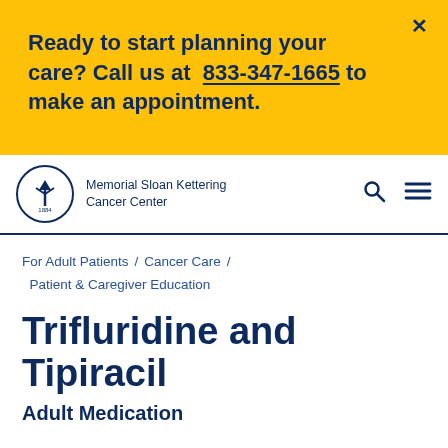Ready to start planning your care? Call us at 833-347-1665 to make an appointment.
[Figure (logo): Memorial Sloan Kettering Cancer Center logo with circular emblem and text]
For Adult Patients / Cancer Care / Patient & Caregiver Education
Trifluridine and Tipiracil
Adult Medication